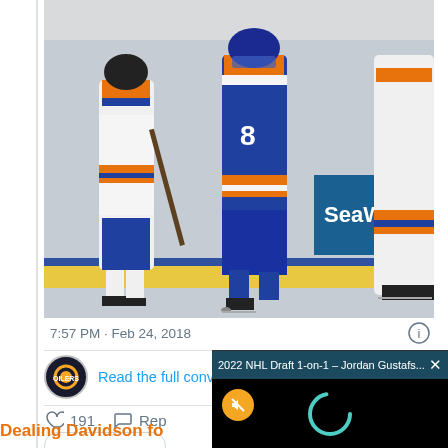[Figure (photo): Hockey players in Edmonton Oilers uniforms on ice with SeaWorld banner in background]
7:57 PM · Feb 24, 2018
Read the full conversation on Twitter
191
[Figure (screenshot): Video overlay popup titled '2022 NHL Draft 1-on-1 – Jordan Gustafs…' with mute button and loading spinner on black background]
Dealing Davidson fo
the room to activat
Sekera has been injured since Feb. 9 when he got